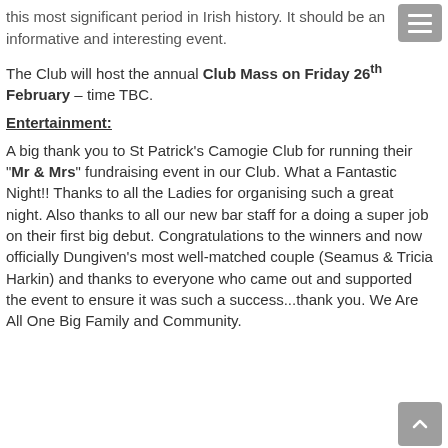this most significant period in Irish history. It should be an informative and interesting event.
The Club will host the annual Club Mass on Friday 26th February – time TBC.
Entertainment:
A big thank you to St Patrick's Camogie Club for running their "Mr & Mrs" fundraising event in our Club. What a Fantastic Night!! Thanks to all the Ladies for organising such a great night. Also thanks to all our new bar staff for a doing a super job on their first big debut. Congratulations to the winners and now officially Dungiven's most well-matched couple (Seamus & Tricia Harkin) and thanks to everyone who came out and supported the event to ensure it was such a success...thank you. We Are All One Big Family and Community.